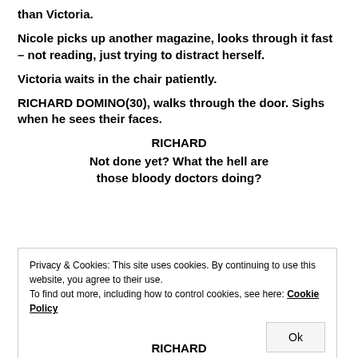than Victoria.
Nicole picks up another magazine, looks through it fast – not reading, just trying to distract herself.
Victoria waits in the chair patiently.
RICHARD DOMINO(30), walks through the door. Sighs when he sees their faces.
RICHARD
Not done yet? What the hell are those bloody doctors doing?
Privacy & Cookies: This site uses cookies. By continuing to use this website, you agree to their use. To find out more, including how to control cookies, see here: Cookie Policy
RICHARD